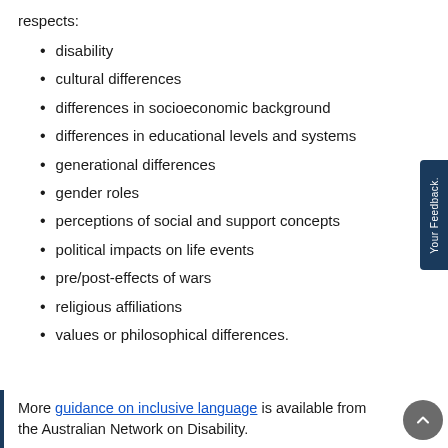respects:
disability
cultural differences
differences in socioeconomic background
differences in educational levels and systems
generational differences
gender roles
perceptions of social and support concepts
political impacts on life events
pre/post-effects of wars
religious affiliations
values or philosophical differences.
More guidance on inclusive language is available from the Australian Network on Disability.